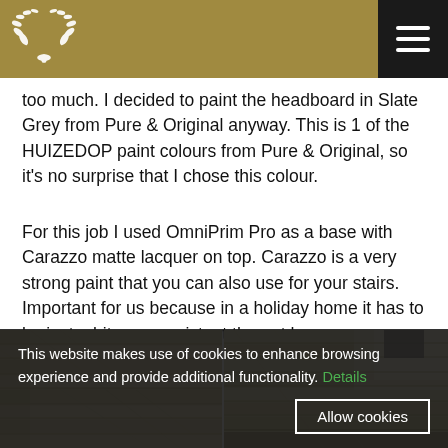HUIZEDOP logo and navigation menu
too much. I decided to paint the headboard in Slate Grey from Pure & Original anyway. This is 1 of the HUIZEDOP paint colours from Pure & Original, so it's no surprise that I chose this colour.
For this job I used OmniPrim Pro as a base with Carazzo matte lacquer on top. Carazzo is a very strong paint that you can also use for your stairs. Important for us because in a holiday home it has to be just a bit more resistant than at home.
[Figure (photo): Interior photo of wooden ceiling planks with light natural pine wood texture]
[Figure (photo): Interior photo of wooden ceiling with skylight window visible, natural pine wood]
This website makes use of cookies to enhance browsing experience and provide additional functionality. Details
Allow cookies